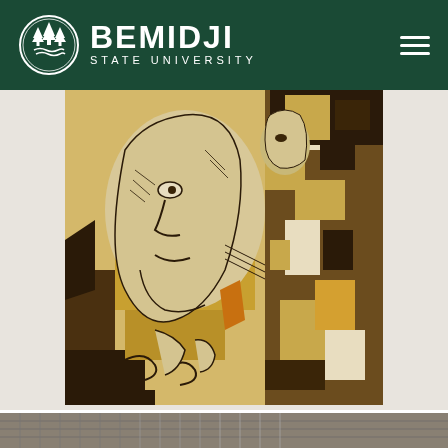Bemidji State University
[Figure (illustration): Cubist-style artwork showing a fragmented human figure with a face in profile, rendered in brown, ochre, gold, and cream tones with dark outlines. The figure appears contemplative, with geometric shapes and patterns filling the composition.]
[Figure (photo): Partial view of another artwork visible at the bottom of the page, appearing in grayscale tones.]